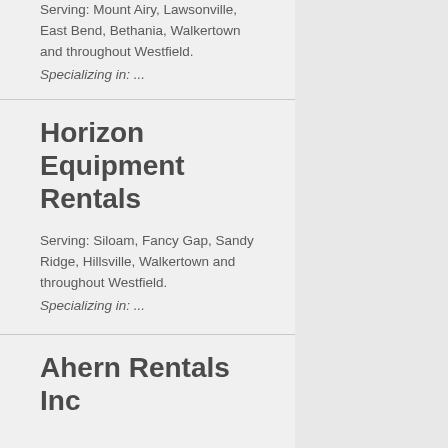Serving: Mount Airy, Lawsonville, East Bend, Bethania, Walkertown and throughout Westfield.
Specializing in: ...
Horizon Equipment Rentals
Serving: Siloam, Fancy Gap, Sandy Ridge, Hillsville, Walkertown and throughout Westfield.
Specializing in: ...
Ahern Rentals Inc